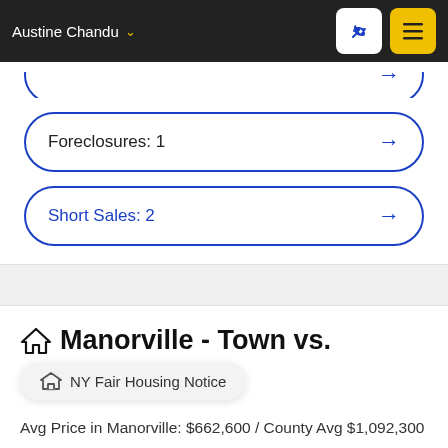Austine Chandu
Foreclosures: 1
Short Sales: 2
Manorville - Town vs.
NY Fair Housing Notice
Avg Price in Manorville: $662,600 / County Avg $1,092,300